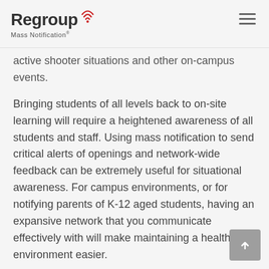Regroup Mass Notification®
active shooter situations and other on-campus events.
Bringing students of all levels back to on-site learning will require a heightened awareness of all students and staff. Using mass notification to send critical alerts of openings and network-wide feedback can be extremely useful for situational awareness. For campus environments, or for notifying parents of K-12 aged students, having an expansive network that you communicate effectively with will make maintaining a healthful environment easier.
Campus Life Considerations
For the second second second second second second life